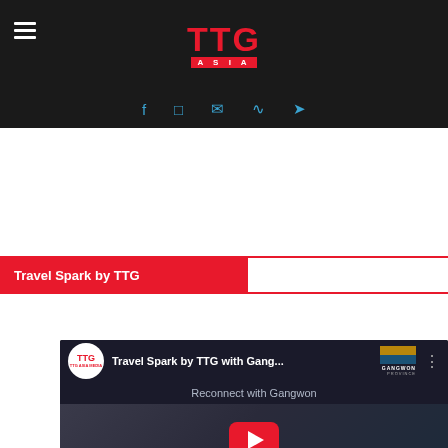TTG Asia
Travel Spark by TTG
[Figure (screenshot): YouTube video embed titled 'Travel Spark by TTG with Gang...' showing a video about Reconnect with Gangwon, featuring Kim Jong-Woug, Director-General of Tourism, Culture and Sports Bureau, Gangwon Provincial Government, with a YouTube play button overlay]
VIEW MORE VIDEOS